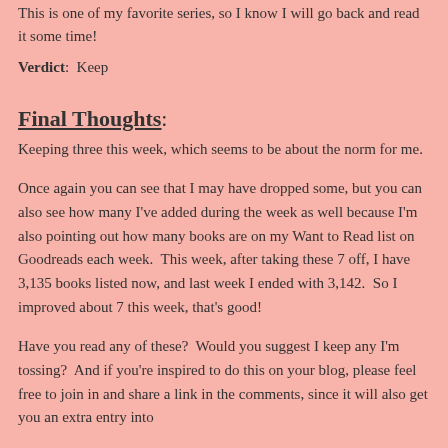my thoughts: This is one of my favorite series, so I know I will go back and read it some time!
Verdict: Keep
Final Thoughts:
Keeping three this week, which seems to be about the norm for me.
Once again you can see that I may have dropped some, but you can also see how many I've added during the week as well because I'm also pointing out how many books are on my Want to Read list on Goodreads each week.  This week, after taking these 7 off, I have 3,135 books listed now, and last week I ended with 3,142.  So I improved about 7 this week, that's good!
Have you read any of these?  Would you suggest I keep any I'm tossing?  And if you're inspired to do this on your blog, please feel free to join in and share a link in the comments, since it will also get you an extra entry into